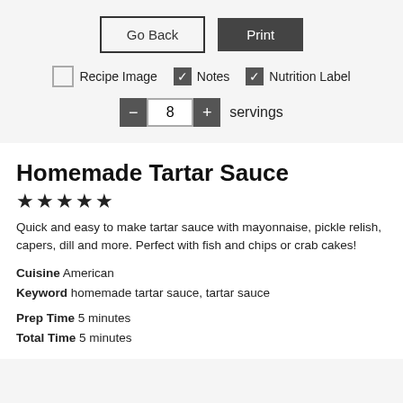[Figure (screenshot): UI controls: Go Back button (outlined) and Print button (dark filled)]
[Figure (screenshot): Checkbox row: Recipe Image (unchecked), Notes (checked), Nutrition Label (checked)]
[Figure (screenshot): Servings stepper: minus button, 8, plus button, servings label]
Homemade Tartar Sauce
★★★★★
Quick and easy to make tartar sauce with mayonnaise, pickle relish, capers, dill and more. Perfect with fish and chips or crab cakes!
Cuisine  American
Keyword  homemade tartar sauce, tartar sauce
Prep Time  5 minutes
Total Time  5 minutes